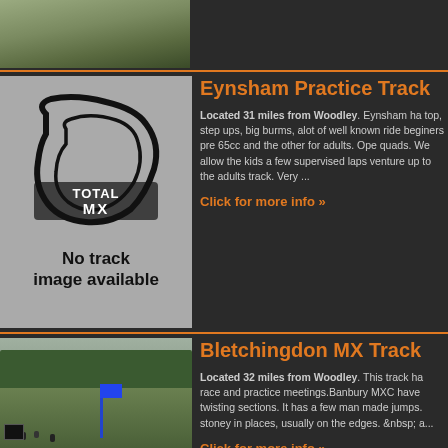[Figure (photo): Top photo of motocross terrain, partially visible]
[Figure (illustration): Total MX logo placeholder - grey box with track map outline and text 'No track image available']
Eynsham Practice Track
Located 31 miles from Woodley. Eynsham ha... top, step ups, big burms, alot of well known ride... beginers pre 65cc and the other for adults. Ope... quads. We allow the kids a few supervised laps venture up to the adults track. Very ...
Click for more info »
[Figure (photo): Photo of Bletchingdon MX Track showing motocross riders on a grass field with trees in background and a blue banner/flag]
Bletchingdon MX Track
Located 32 miles from Woodley. This track ha... race and practice meetings.Banbury MXC have twisting sections. It has a few man made jumps. stoney in places, usually on the edges. &nbsp; a...
Click for more info »